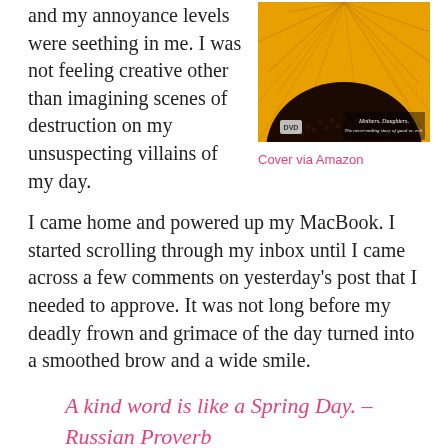and my annoyance levels were seething in me. I was not feeling creative other than imagining scenes of destruction on my unsuspecting villains of my day.
[Figure (photo): Close-up of a sunflower with DVD cover overlay text reading 'Mothers. Daughters. The never-ending story of good vs. evil.']
Cover via Amazon
I came home and powered up my MacBook. I started scrolling through my inbox until I came across a few comments on yesterday's post that I needed to approve. It was not long before my deadly frown and grimace of the day turned into a smoothed brow and a wide smile.
A kind word is like a Spring Day. – Russian Proverb
I started this blog as a way to build an online presence